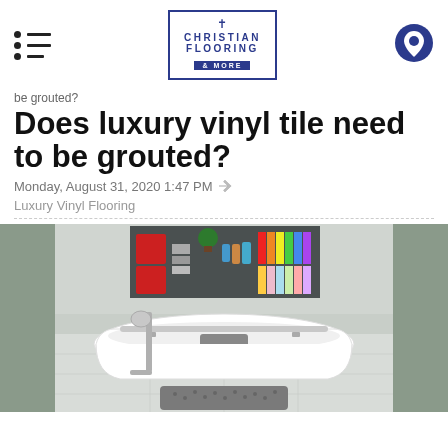Christian Flooring & More — navigation header with logo
be grouted?
Does luxury vinyl tile need to be grouted?
Monday, August 31, 2020 1:47 PM
Luxury Vinyl Flooring
[Figure (photo): A freestanding white bathtub in a modern bathroom with light gray tile flooring, a chrome floor-mount faucet, a gray towel draped over the tub, a gray bath mat on the floor, and shelving in the background with colorful books and storage boxes.]